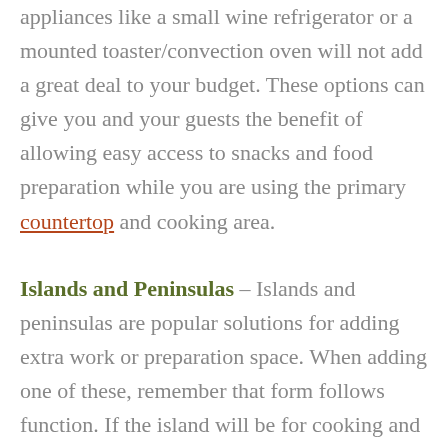appliances like a small wine refrigerator or a mounted toaster/convection oven will not add a great deal to your budget. These options can give you and your guests the benefit of allowing easy access to snacks and food preparation while you are using the primary countertop and cooking area.
Islands and Peninsulas – Islands and peninsulas are popular solutions for adding extra work or preparation space. When adding one of these, remember that form follows function. If the island will be for cooking and food preparation, have storage for utensils, pots and pans nearby. If it is